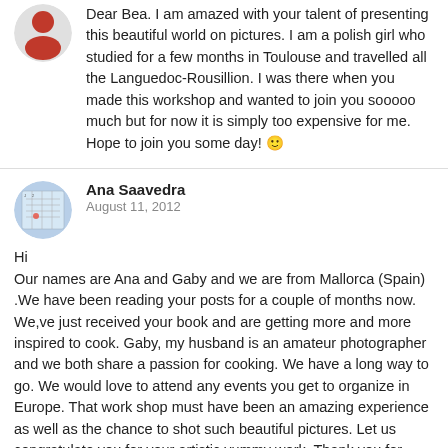Dear Bea. I am amazed with your talent of presenting this beautiful world on pictures. I am a polish girl who studied for a few months in Toulouse and travelled all the Languedoc-Rousillion. I was there when you made this workshop and wanted to join you sooooo much but for now it is simply too expensive for me. Hope to join you some day! 🙂
Ana Saavedra
August 11, 2012
Hi
Our names are Ana and Gaby and we are from Mallorca (Spain) .We have been reading your posts for a couple of months now. We,ve just received your book and are getting more and more inspired to cook. Gaby, my husband is an amateur photographer and we both share a passion for cooking. We have a long way to go. We would love to attend any events you get to organize in Europe. That work shop must have been an amazing experience as well as the chance to shot such beautiful pictures. Let us congratulate you for your artistic yummy work. Thank you for sharing all that beauty.
Caitlyn